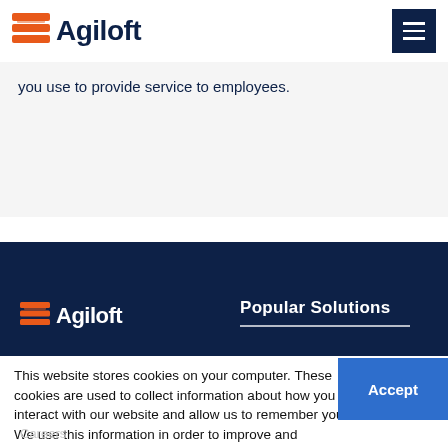[Figure (logo): Agiloft logo with orange stacked bars icon and dark navy 'Agiloft' wordmark, top left header]
[Figure (other): Dark navy hamburger menu button (three horizontal white lines) in top right corner]
you use to provide service to employees.
[Figure (logo): Agiloft logo in white on dark navy footer background]
Popular Solutions
This website stores cookies on your computer. These cookies are used to collect information about how you interact with our website and allow us to remember you. We use this information in order to improve and customize your browsing experience and for analytics and metrics. Learn more
Careers